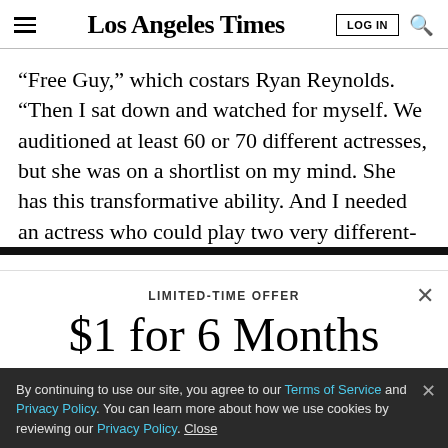Los Angeles Times
“Free Guy,” which costars Ryan Reynolds. “Then I sat down and watched for myself. We auditioned at least 60 or 70 different actresses, but she was on a shortlist on my mind. She has this transformative ability. And I needed an actress who could play two very different-
LIMITED-TIME OFFER
$1 for 6 Months
SUBSCRIBE NOW
By continuing to use our site, you agree to our Terms of Service and Privacy Policy. You can learn more about how we use cookies by reviewing our Privacy Policy. Close